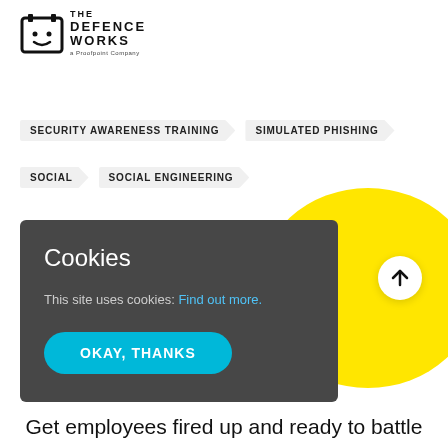[Figure (logo): The Defence Works logo — a Proofpoint Company]
SECURITY AWARENESS TRAINING
SIMULATED PHISHING
SOCIAL
SOCIAL ENGINEERING
Cookies
This site uses cookies: Find out more.
OKAY, THANKS
Get employees fired up and ready to battle